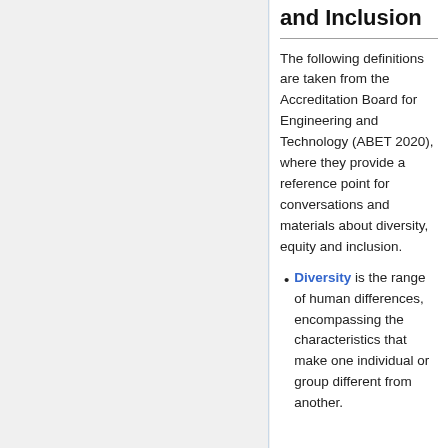and Inclusion
The following definitions are taken from the Accreditation Board for Engineering and Technology (ABET 2020), where they provide a reference point for conversations and materials about diversity, equity and inclusion.
Diversity is the range of human differences, encompassing the characteristics that make one individual or group different from another.